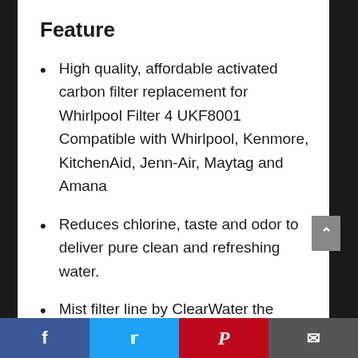Feature
High quality, affordable activated carbon filter replacement for Whirlpool Filter 4 UKF8001 Compatible with Whirlpool, Kenmore, KitchenAid, Jenn-Air, Maytag and Amana
Reduces chlorine, taste and odor to deliver pure clean and refreshing water.
Mist filter line by ClearWater the Higher standard in affordable water filtering. Guaranteed satisfaction or
Facebook | Twitter | Pinterest | Email